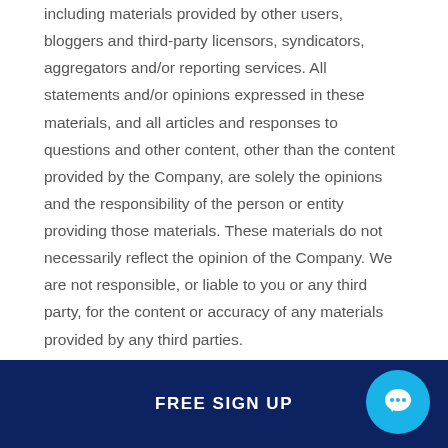including materials provided by other users, bloggers and third-party licensors, syndicators, aggregators and/or reporting services. All statements and/or opinions expressed in these materials, and all articles and responses to questions and other content, other than the content provided by the Company, are solely the opinions and the responsibility of the person or entity providing those materials. These materials do not necessarily reflect the opinion of the Company. We are not responsible, or liable to you or any third party, for the content or accuracy of any materials provided by any third parties.
Changes to the Website
We may update the content on this Website from tim...
FREE SIGN UP